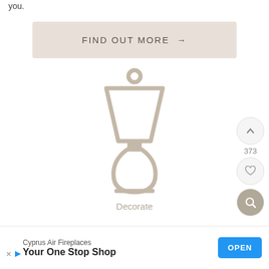you.
[Figure (other): Button: FIND OUT MORE →]
[Figure (illustration): Line-art icon of a table lamp (lampshade with decorative base)]
Decorate
[Figure (other): Up-arrow vote button, count 373, heart/like button, and search/magnify button on right side]
Cyprus Air Fireplaces
Your One Stop Shop OPEN